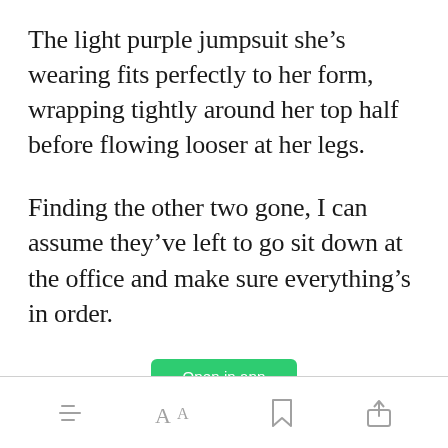The light purple jumpsuit she’s wearing fits perfectly to her form, wrapping tightly around her top half before flowing looser at her legs.
Finding the other two gone, I can assume they’ve left to go sit down at the office and make sure everything’s in order.
[Figure (other): Green 'Open in app' button]
Toolbar with hamburger menu, font size, bookmark, and share icons